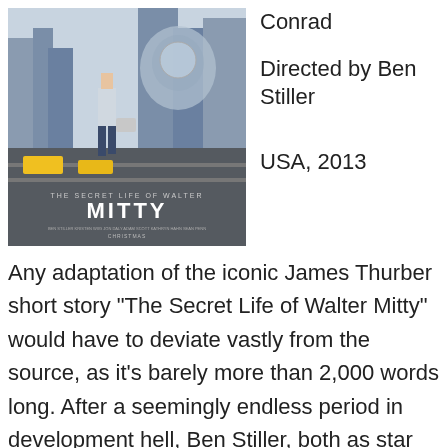[Figure (photo): Movie poster for 'The Secret Life of Walter Mitty' showing a man in a suit running through a city street carrying a briefcase, with a large astronaut image overlaid. Text reads 'THE SECRET LIFE OF WALTER MITTY', 'MITTY', 'CHRISTMAS' at the bottom.]
Conrad
Directed by Ben Stiller
USA, 2013
Any adaptation of the iconic James Thurber short story “The Secret Life of Walter Mitty” would have to deviate vastly from the source, as it’s barely more than 2,000 words long. After a seemingly endless period in development hell, Ben Stiller, both as star and director, h remade The Secret Life of Walter Mitty